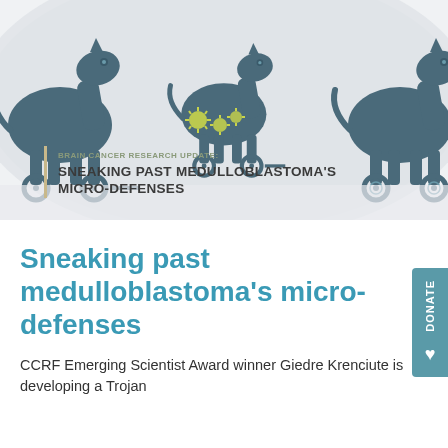[Figure (illustration): Banner illustration showing stylized Trojan horse figures in dark slate/teal color on a light gray curved background, with small yellow-green virus/bacteria particles between the horses. Below the illustration is a vertical gold bar on the left with text reading 'BRAIN CANCER RESEARCH UPDATE: SNEAKING PAST MEDULLOBLASTOMA'S MICRO-DEFENSES'.]
Sneaking past medulloblastoma's micro-defenses
CCRF Emerging Scientist Award winner Giedre Krenciute is developing a Trojan